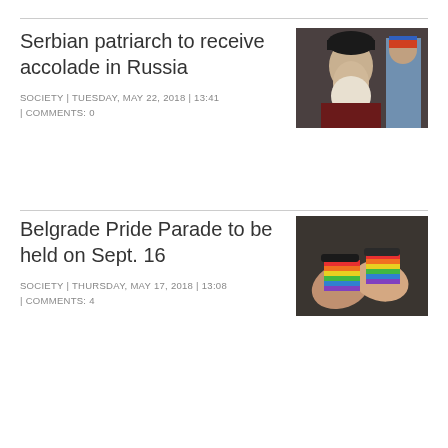Serbian patriarch to receive accolade in Russia
SOCIETY | TUESDAY, MAY 22, 2018 | 13:41 | COMMENTS: 0
[Figure (photo): Photo of an elderly bearded Orthodox patriarch in dark robes with another figure visible in background]
Belgrade Pride Parade to be held on Sept. 16
SOCIETY | THURSDAY, MAY 17, 2018 | 13:08 | COMMENTS: 4
[Figure (photo): Photo of two people holding hands wearing rainbow-colored wristbands/bracelets]